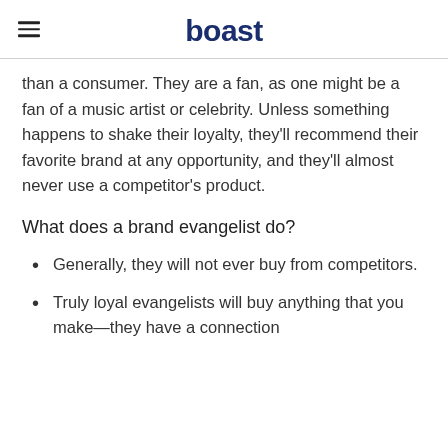boast
than a consumer. They are a fan, as one might be a fan of a music artist or celebrity. Unless something happens to shake their loyalty, they'll recommend their favorite brand at any opportunity, and they'll almost never use a competitor's product.
What does a brand evangelist do?
Generally, they will not ever buy from competitors.
Truly loyal evangelists will buy anything that you make—they have a connection